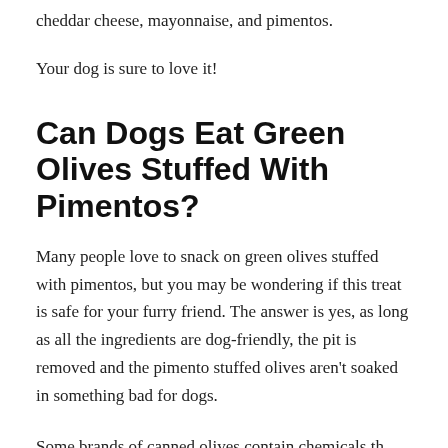cheddar cheese, mayonnaise, and pimentos.
Your dog is sure to love it!
Can Dogs Eat Green Olives Stuffed With Pimentos?
Many people love to snack on green olives stuffed with pimentos, but you may be wondering if this treat is safe for your furry friend. The answer is yes, as long as all the ingredients are dog-friendly, the pit is removed and the pimento stuffed olives aren't soaked in something bad for dogs.
Some brands of canned olives contain chemicals that may be harmful to dogs with important to check